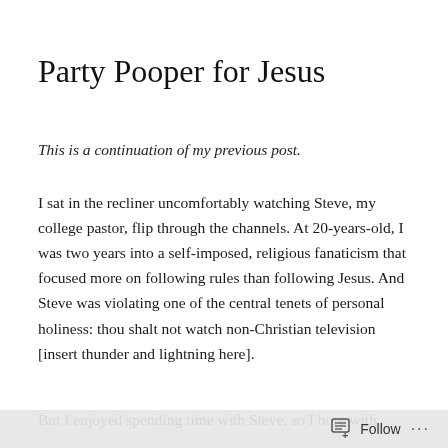Party Pooper for Jesus
This is a continuation of my previous post.
I sat in the recliner uncomfortably watching Steve, my college pastor, flip through the channels. At 20-years-old, I was two years into a self-imposed, religious fanaticism that focused more on following rules than following Jesus. And Steve was violating one of the central tenets of personal holiness: thou shalt not watch non-Christian television [insert thunder and lightning here].
But I enjoyed spending time with Steve, so I bore with
Follow ...